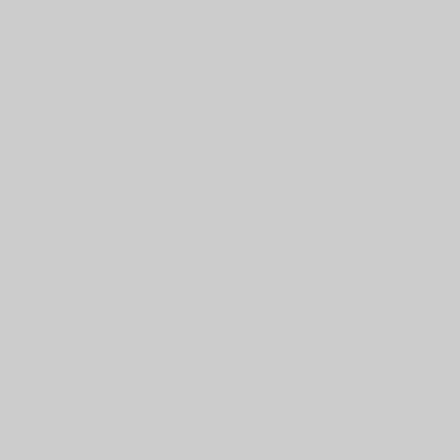| Folder | Description |
| --- | --- |
|  | the Estate of Norris Ath... E. R. Bass... J. Hayes,... |
| Folder 855 | Wilson Di... 76-0036-C... Clyde Joy... v. Wilson Memorial Hospital, Margaret J. Goodwin, Executrix Estate of W. Goodw... |
| Folder 856 | Wilson Di... 76-0038-C... Mary E. McCormic... David Ma... Secretary Health, Education Welfare |
| Folder 857 | Wilson Di... 76-39-CIV... |